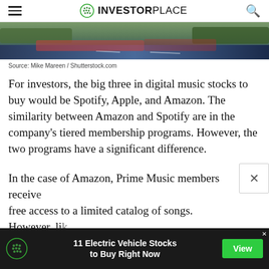INVESTORPLACE
[Figure (photo): Blurred photo of a road/highway scene with green trees and motion blur, dark blue tones at bottom]
Source: Mike Mareen / Shutterstock.com
For investors, the big three in digital music stocks to buy would be Spotify, Apple, and Amazon. The similarity between Amazon and Spotify are in the company’s tiered membership programs. However, the two programs have a significant difference.
In the case of Amazon, Prime Music members receive free access to a limited catalog of songs. However, li
[Figure (infographic): Advertisement banner: green dot logo, text '11 Electric Vehicle Stocks to Buy Right Now', green 'View' button]